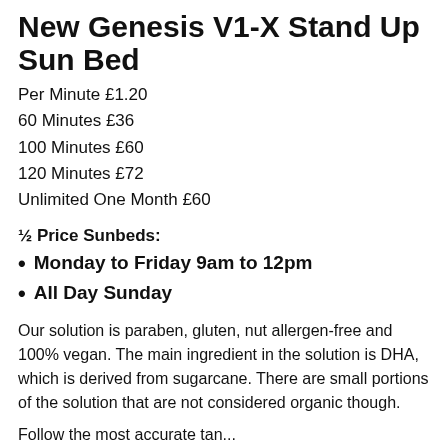New Genesis V1-X Stand Up Sun Bed
Per Minute £1.20
60 Minutes £36
100 Minutes £60
120 Minutes £72
Unlimited One Month £60
½ Price Sunbeds:
Monday to Friday 9am to 12pm
All Day Sunday
Our solution is paraben, gluten, nut allergen-free and 100% vegan. The main ingredient in the solution is DHA, which is derived from sugarcane. There are small portions of the solution that are not considered organic though.
Follow the most accurate tan...